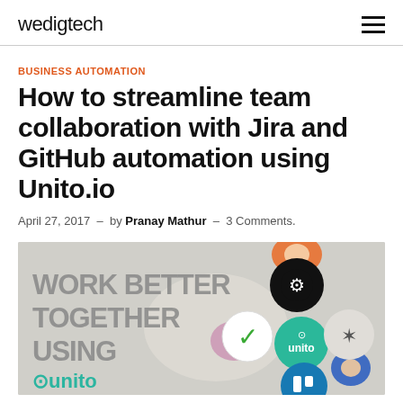wedigtech
BUSINESS AUTOMATION
How to streamline team collaboration with Jira and GitHub automation using Unito.io
April 27, 2017 – by Pranay Mathur – 3 Comments.
[Figure (illustration): Promotional banner image reading WORK BETTER TOGETHER USING Unito, with people collaborating shown from above, and circular icons for GitHub, Unito, checkmark, a person icon, and Trello]